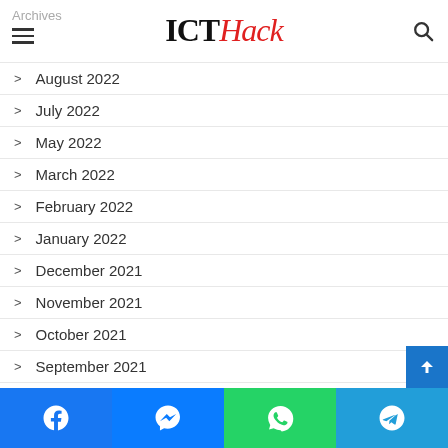ICTHack
August 2022
July 2022
May 2022
March 2022
February 2022
January 2022
December 2021
November 2021
October 2021
September 2021
August 2021
Facebook | Messenger | WhatsApp | Telegram